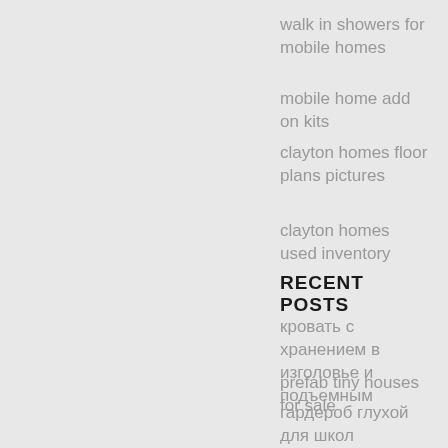walk in showers for mobile homes
mobile home add on kits
clayton homes floor plans pictures
clayton homes used inventory
RECENT POSTS
кровать с хранением в изголовье и подъемным
prefab tiny houses for sale
гардероб глухой для школ
housing trailer for sale
metal cabin kits
диван раскладной для маленькой пространства